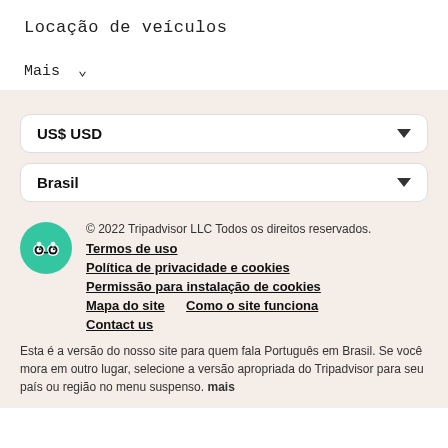Locação de veículos
Mais ∨
US$USD
Brasil
© 2022 Tripadvisor LLC Todos os direitos reservados.
Termos de uso
Política de privacidade e cookies
Permissão para instalação de cookies
Mapa do site    Como o site funciona
Contact us
Esta é a versão do nosso site para quem fala Português em Brasil. Se você mora em outro lugar, selecione a versão apropriada do Tripadvisor para seu país ou região no menu suspenso. mais